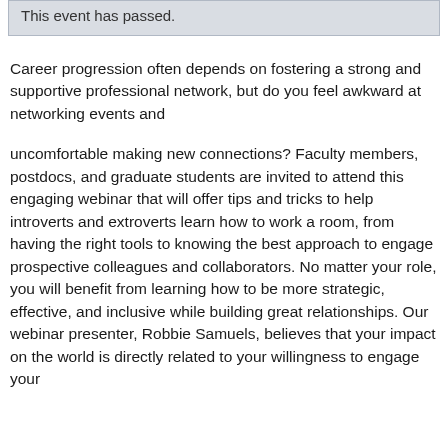This event has passed.
Career progression often depends on fostering a strong and supportive professional network, but do you feel awkward at networking events and
uncomfortable making new connections? Faculty members, postdocs, and graduate students are invited to attend this engaging webinar that will offer tips and tricks to help introverts and extroverts learn how to work a room, from having the right tools to knowing the best approach to engage prospective colleagues and collaborators. No matter your role, you will benefit from learning how to be more strategic, effective, and inclusive while building great relationships. Our webinar presenter, Robbie Samuels, believes that your impact on the world is directly related to your willingness to engage your